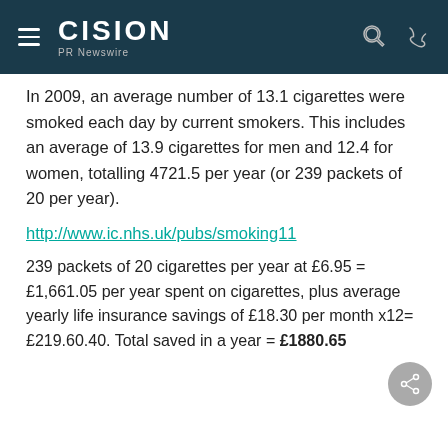CISION PR Newswire
In 2009, an average number of 13.1 cigarettes were smoked each day by current smokers. This includes an average of 13.9 cigarettes for men and 12.4 for women, totalling 4721.5 per year (or 239 packets of 20 per year).
http://www.ic.nhs.uk/pubs/smoking11
239 packets of 20 cigarettes per year at £6.95 = £1,661.05 per year spent on cigarettes, plus average yearly life insurance savings of £18.30 per month x12= £219.60.40. Total saved in a year = £1880.65